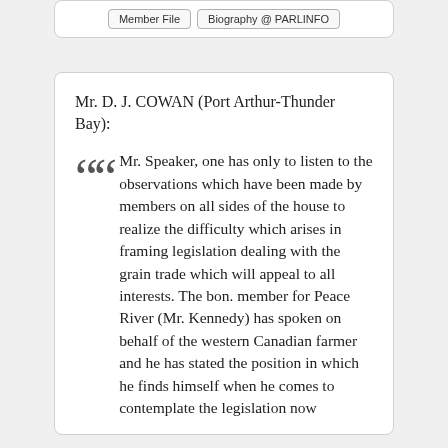Member File | Biography @ PARLINFO
Mr. D. J. COWAN (Port Arthur-Thunder Bay):
Mr. Speaker, one has only to listen to the observations which have been made by members on all sides of the house to realize the difficulty which arises in framing legislation dealing with the grain trade which will appeal to all interests. The bon. member for Peace River (Mr. Kennedy) has spoken on behalf of the western Canadian farmer and he has stated the position in which he finds himself when he comes to contemplate the legislation now